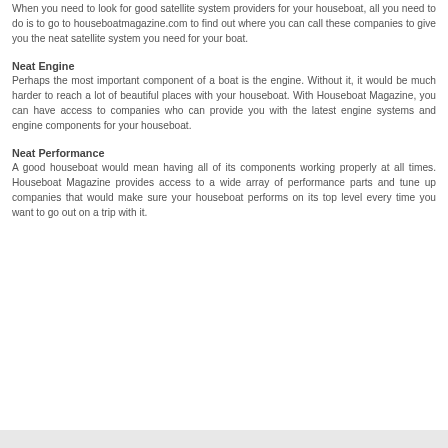When you need to look for good satellite system providers for your houseboat, all you need to do is to go to houseboatmagazine.com to find out where you can call these companies to give you the neat satellite system you need for your boat.
Neat Engine
Perhaps the most important component of a boat is the engine. Without it, it would be much harder to reach a lot of beautiful places with your houseboat. With Houseboat Magazine, you can have access to companies who can provide you with the latest engine systems and engine components for your houseboat.
Neat Performance
A good houseboat would mean having all of its components working properly at all times. Houseboat Magazine provides access to a wide array of performance parts and tune up companies that would make sure your houseboat performs on its top level every time you want to go out on a trip with it.